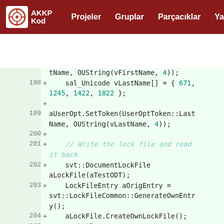AKKP Kod — Projeler  Gruplar  Parçacıklar  Yardım
[Figure (screenshot): Code diff viewer showing lines 197-207 of a C++ source file with added lines (marked with +) on a light green background. Line numbers shown on left. Code includes sal_Unicode array, aUserOpt.SetToken calls, svt::DocumentLockFile, LockFileEntry operations, and comments about lock file attributes.]